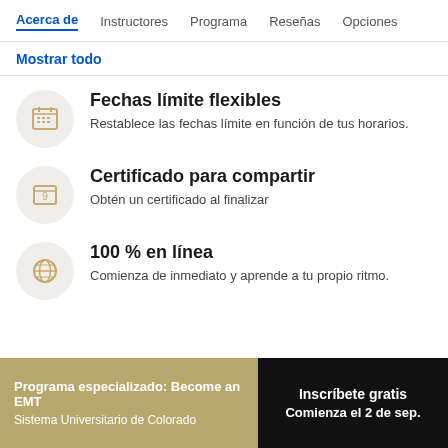Acerca de  Instructores  Programa  Reseñas  Opciones
Mostrar todo
Fechas límite flexibles – Restablece las fechas límite en función de tus horarios.
Certificado para compartir – Obtén un certificado al finalizar
100 % en línea – Comienza de inmediato y aprende a tu propio ritmo.
Programa especializado: Become an EMT
Sistema Universitario de Colorado
Inscríbete gratis
Comienza el 2 de sep.